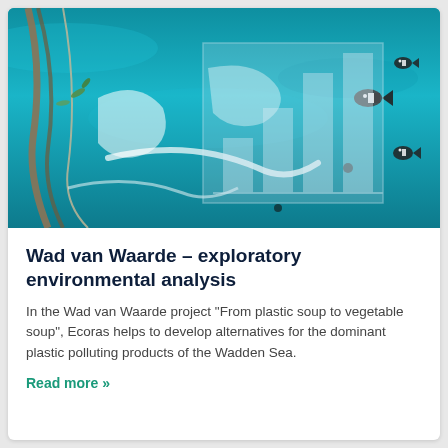[Figure (photo): Underwater/surface photo of marine plastic pollution — plastic bags, debris, ropes, and fish floating in a teal/turquoise ocean, with a semi-transparent bar chart icon overlaid in the center.]
Wad van Waarde – exploratory environmental analysis
In the Wad van Waarde project "From plastic soup to vegetable soup", Ecoras helps to develop alternatives for the dominant plastic polluting products of the Wadden Sea.
Read more »